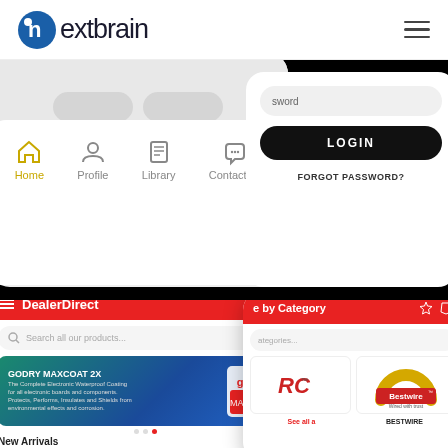nextbrain
[Figure (screenshot): Mobile app screenshot showing nextbrain app with navigation bar (Home, Profile, Library, Contact us) and a login panel with password field, LOGIN button, and FORGOT PASSWORD? link, on black background]
[Figure (screenshot): Mobile app screenshots showing DealerDirect app with search bar, GODRY MAXCOAT 2X banner, and a Browse by Category screen showing Bestwire brand logo, on red background]